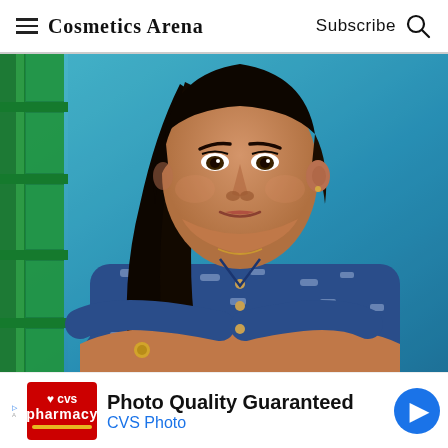Cosmetics Arena | Subscribe
[Figure (photo): Portrait of a young South Asian woman with long dark hair, wearing a blue patterned kurti, arms crossed, standing against a teal/blue wall with a green window frame on the left side.]
Photo Quality Guaranteed
CVS Photo